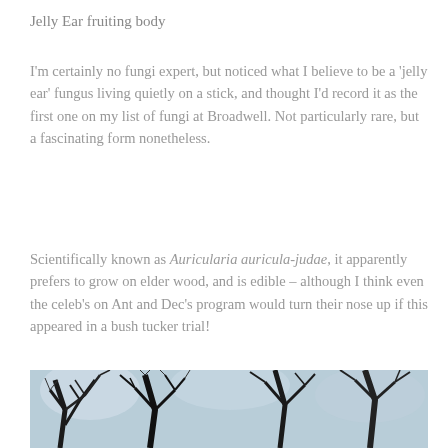Jelly Ear fruiting body
I'm certainly no fungi expert, but noticed what I believe to be a 'jelly ear' fungus living quietly on a stick, and thought I'd record it as the first one on my list of fungi at Broadwell. Not particularly rare, but a fascinating form nonetheless.
Scientifically known as Auricularia auricula-judae, it apparently prefers to grow on elder wood, and is edible – although I think even the celeb's on Ant and Dec's program would turn their nose up if this appeared in a bush tucker trial!
[Figure (photo): Outdoor photograph showing bare tree branches silhouetted against a blue-grey winter sky.]